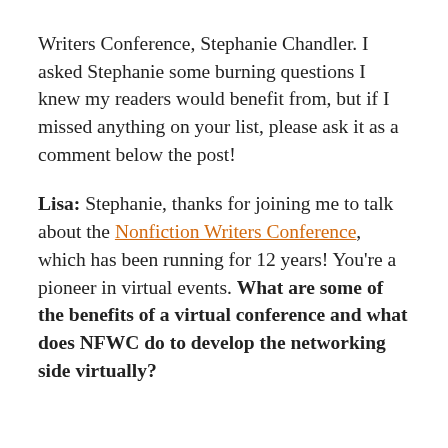Writers Conference, Stephanie Chandler. I asked Stephanie some burning questions I knew my readers would benefit from, but if I missed anything on your list, please ask it as a comment below the post!
Lisa: Stephanie, thanks for joining me to talk about the Nonfiction Writers Conference, which has been running for 12 years! You're a pioneer in virtual events. What are some of the benefits of a virtual conference and what does NFWC do to develop the networking side virtually?